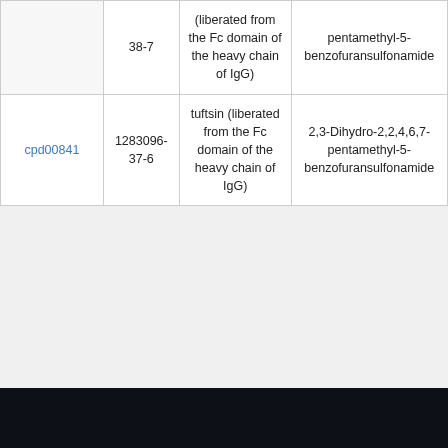|  | 38-7 | tuftsin (liberated from the Fc domain of the heavy chain of IgG) | pentamethyl-5-benzofuransulfonamide |
| cpd00841 | 1283096-37-6 | tuftsin (liberated from the Fc domain of the heavy chain of IgG) | 2,3-Dihydro-2,2,4,6,7-pentamethyl-5-benzofuransulfonamide |